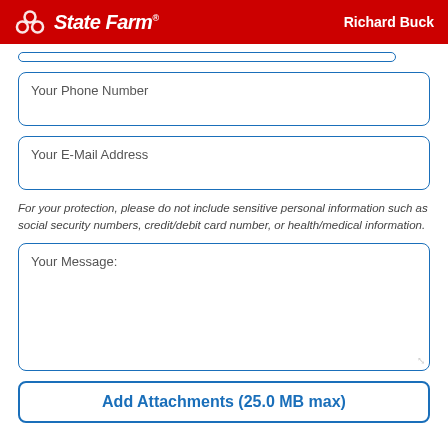State Farm — Richard Buck
Your Phone Number
Your E-Mail Address
For your protection, please do not include sensitive personal information such as social security numbers, credit/debit card number, or health/medical information.
Your Message:
Add Attachments (25.0 MB max)